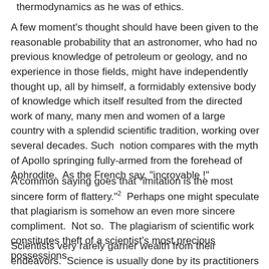thermodynamics as he was of ethics.
A few moment's thought should have been given to the reasonable probability that an astronomer, who had no previous knowledge of petroleum or geology, and no experience in those fields, might have independently thought up, all by himself, a formidably extensive body of knowledge which itself resulted from the directed work of many, many men and women of a large country with a splendid scientific tradition, working over several decades. Such  notion compares with the myth of Apollo springing fully-armed from the forehead of Aphrodite.  As the French say, "incroyable !"
A common saying goes that "imitation is the most sincere form of flattery."2  Perhaps one might speculate that plagiarism is somehow an even more sincere compliment.  Not so.  The plagiarism of scientific work constitutes theft of a scientist's most precious possessions.
Scientists very rarely garner wealth from their endeavors.  Science is usually done by its practitioners for the joy of